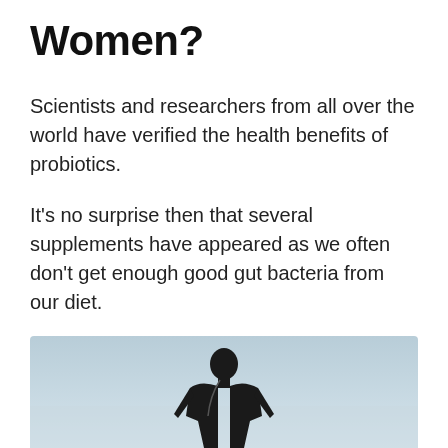Women?
Scientists and researchers from all over the world have verified the health benefits of probiotics.
It’s no surprise then that several supplements have appeared as we often don’t get enough good gut bacteria from our diet.
One of the most popular is Performance Probiotics from CrazyBulk, but is it as good as advertised?
[Figure (photo): A muscular man (athlete) photographed from a low angle against a light sky background, visible from roughly the torso up.]